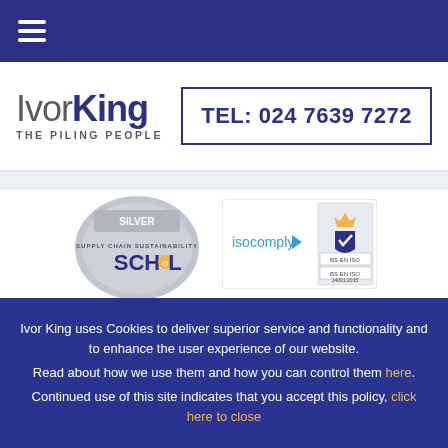Navigation bar with hamburger menu
[Figure (logo): Ivor King - The Piling People logo with telephone number TEL: 024 7639 7272]
[Figure (photo): Supply Chain Sustainability School Silver badge and isocomply ISO certifications badges]
Ivor King uses Cookies to deliver superior service and functionality and to enhance the user experience of our website. Read about how we use them and how you can control them here. Continued use of this site indicates that you accept this policy, click here to close